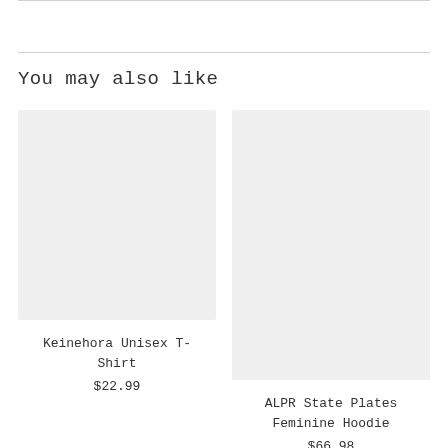You may also like
[Figure (photo): Product image placeholder for Keinehora Unisex T-Shirt, light gray background]
Keinehora Unisex T-Shirt
$22.99
[Figure (photo): Product image placeholder for ALPR State Plates Feminine Hoodie, light gray background]
ALPR State Plates Feminine Hoodie
$66.98